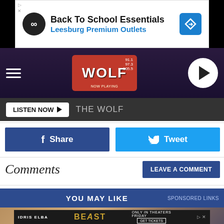[Figure (screenshot): Advertisement banner: Back To School Essentials - Leesburg Premium Outlets with icons]
[Figure (logo): The Wolf radio station logo and navigation bar with hamburger menu and play button]
LISTEN NOW ▶  THE WOLF
f Share
🐦 Tweet
Comments
LEAVE A COMMENT
YOU MAY LIKE   SPONSORED LINKS
[Figure (photo): Promotional image - partially visible background scene, with Beast movie advertisement overlay showing Idris Elba]